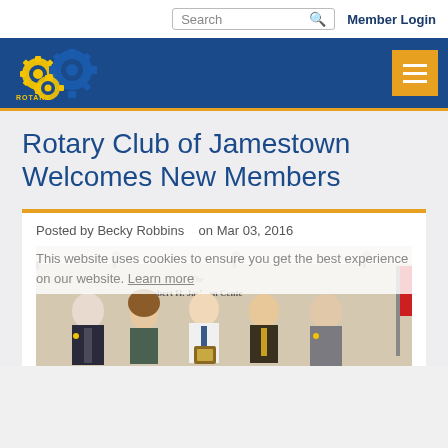Search | Member Login
[Figure (logo): Rotary Club of Jamestown logo — three interlocking Rotary gear/cogwheel emblems in gold and blue, on a dark blue navigation header background]
Rotary Club of Jamestown Welcomes New Members
Posted by Becky Robbins   on Mar 03, 2016
This website uses cookies to ensure you get the best experience on our website. Learn more
[Figure (photo): Five people standing in a row posing for a photo inside a building with 'The [Robert H. Jackson] Center' signage behind them. Four men and one woman; the center person holds a plaque.]